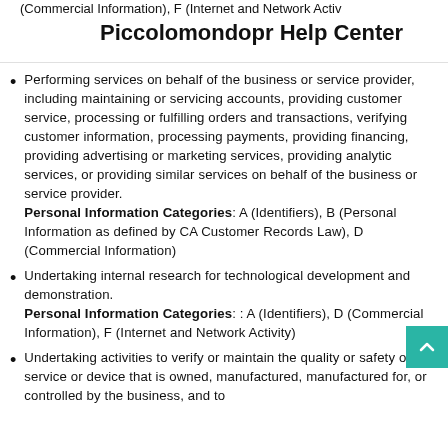(Commercial Information), F (Internet and Network Activity)
Piccolomondopr Help Center
Performing services on behalf of the business or service provider, including maintaining or servicing accounts, providing customer service, processing or fulfilling orders and transactions, verifying customer information, processing payments, providing financing, providing advertising or marketing services, providing analytic services, or providing similar services on behalf of the business or service provider.
Personal Information Categories: A (Identifiers), B (Personal Information as defined by CA Customer Records Law), D (Commercial Information)
Undertaking internal research for technological development and demonstration.
Personal Information Categories: : A (Identifiers), D (Commercial Information), F (Internet and Network Activity)
Undertaking activities to verify or maintain the quality or safety of a service or device that is owned, manufactured, manufactured for, or controlled by the business, and to